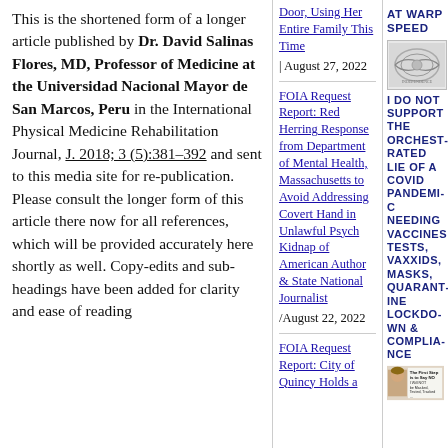This is the shortened form of a longer article published by Dr. David Salinas Flores, MD, Professor of Medicine at the Universidad Nacional Mayor de San Marcos, Peru in the International Physical Medicine Rehabilitation Journal, J. 2018; 3 (5):381–392 and sent to this media site for re-publication. Please consult the longer form of this article there now for all references, which will be provided accurately here shortly as well. Copy-edits and sub-headings have been added for clarity and ease of reading
Door, Using Her Entire Family This Time | August 27, 2022
FOIA Request Report: Red Herring Response from Department of Mental Health, Massachusetts to Avoid Addressing Covert Hand in Unlawful Psych Kidnap of American Author & State National Journalist/August 22, 2022
FOIA Request Report: City of Quincy Holds a
[Figure (other): Logo or emblem image - appears to be a government or military insignia]
I DO NOT SUPPORT THE ORCHESTRATED LIE OF A COVID PANDEMIC NEEDING VACCINES TESTS, VAXXIDS, MASKS, QUARANTINE LOCKDOWNS & COMPLIANCE
[Figure (photo): Small photo of a person with text 'The First Step is to Say NO I Will NOT be Masked, Tested, Tracked...']